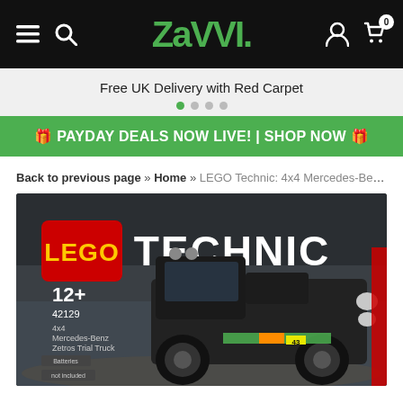Zavvi — navigation bar with hamburger, search, logo, account, cart (0)
Free UK Delivery with Red Carpet
🎁 PAYDAY DEALS NOW LIVE! | SHOP NOW 🎁
Back to previous page » Home » LEGO Technic: 4x4 Mercedes-Benz Zetros T...
[Figure (photo): LEGO Technic set 42129 box — 4x4 Mercedes-Benz Zetros Trial Truck, age 12+, with LEGO Technic logo branding and truck model on dark background]